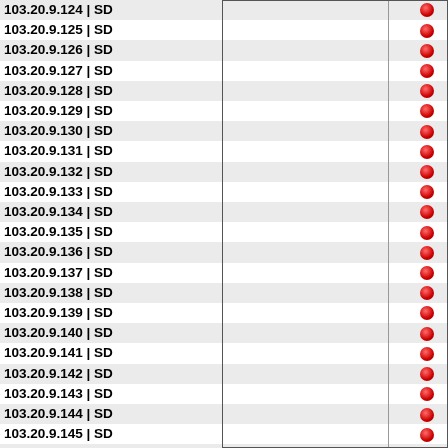| IP Address | Status |
| --- | --- |
| 103.20.9.124 | SD | ● |
| 103.20.9.125 | SD | ● |
| 103.20.9.126 | SD | ● |
| 103.20.9.127 | SD | ● |
| 103.20.9.128 | SD | ● |
| 103.20.9.129 | SD | ● |
| 103.20.9.130 | SD | ● |
| 103.20.9.131 | SD | ● |
| 103.20.9.132 | SD | ● |
| 103.20.9.133 | SD | ● |
| 103.20.9.134 | SD | ● |
| 103.20.9.135 | SD | ● |
| 103.20.9.136 | SD | ● |
| 103.20.9.137 | SD | ● |
| 103.20.9.138 | SD | ● |
| 103.20.9.139 | SD | ● |
| 103.20.9.140 | SD | ● |
| 103.20.9.141 | SD | ● |
| 103.20.9.142 | SD | ● |
| 103.20.9.143 | SD | ● |
| 103.20.9.144 | SD | ● |
| 103.20.9.145 | SD | ● |
| 103.20.9.146 | SD | ● |
| 103.20.9.147 | SD | ● |
| 103.20.9.148 | SD | ● |
| 103.20.9.149 | SD | ● |
| 103.20.9.150 | SD | ● |